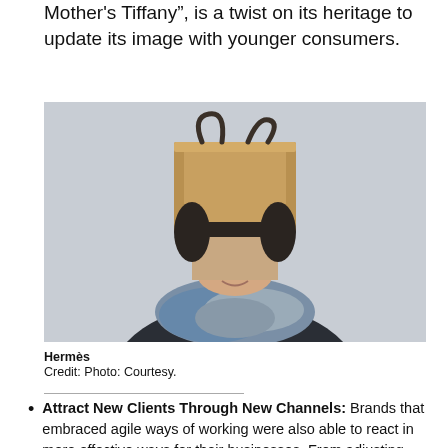Mother's Tiffany", is a twist on its heritage to update its image with younger consumers.
[Figure (photo): Person wearing a brown paper shopping bag over their head, styled with a colorful scarf, photographed against a grey background. Hermès brand image.]
Hermès
Credit: Photo: Courtesy.
Attract New Clients Through New Channels: Brands that embraced agile ways of working were also able to react in more effective ways for their businesses. From adjusting sales of products to